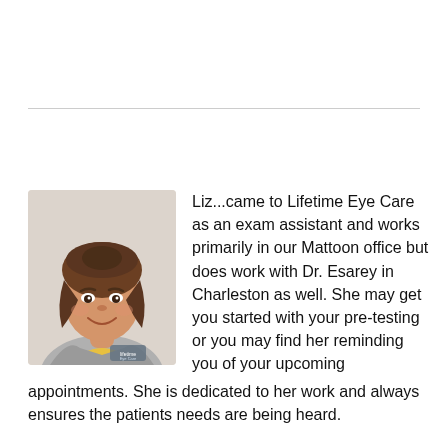[Figure (photo): Photo of Liz, a young woman with brown hair pulled back, smiling, wearing a yellow shirt under a grey Lifetime Eye Care branded jacket]
Liz...came to Lifetime Eye Care as an exam assistant and works primarily in our Mattoon office but does work with Dr. Esarey in Charleston as well. She may get you started with your pre-testing or you may find her reminding you of your upcoming appointments. She is dedicated to her work and always ensures the patients needs are being heard.